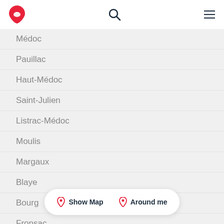Wine regions app header with logo, search, and menu icons
Médoc
Pauillac
Haut-Médoc
Saint-Julien
Listrac-Médoc
Moulis
Margaux
Blaye
Bourg
Fronsac
Canon-Fronsac
Pomerol
Lalande-de
Lussac-Saint-Emilion